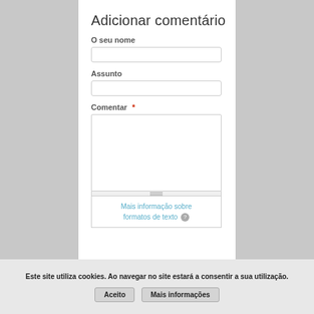Adicionar comentário
O seu nome
[Figure (screenshot): Empty text input field for O seu nome]
Assunto
[Figure (screenshot): Empty text input field for Assunto]
Comentar *
[Figure (screenshot): Large textarea for comment input with resize handle and format info box showing 'Mais informação sobre formatos de texto']
Este site utiliza cookies. Ao navegar no site estará a consentir a sua utilização.
Aceito
Mais informações